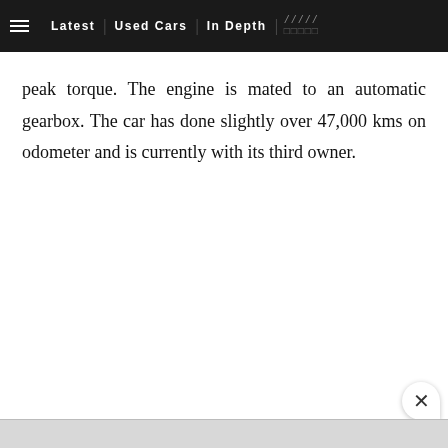≡  Latest | Used Cars | In Depth | ///// □□□□□
peak torque. The engine is mated to an automatic gearbox. The car has done slightly over 47,000 kms on odometer and is currently with its third owner.